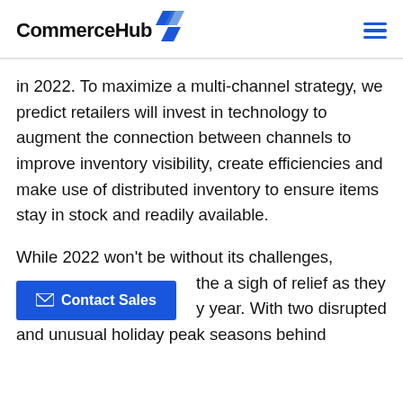CommerceHub
in 2022. To maximize a multi-channel strategy, we predict retailers will invest in technology to augment the connection between channels to improve inventory visibility, create efficiencies and make use of distributed inventory to ensure items stay in stock and readily available.
While 2022 won't be without its challenges, [partially obscured] the a sigh of relief as they [partially obscured] year. With two disrupted and unusual holiday peak seasons behind